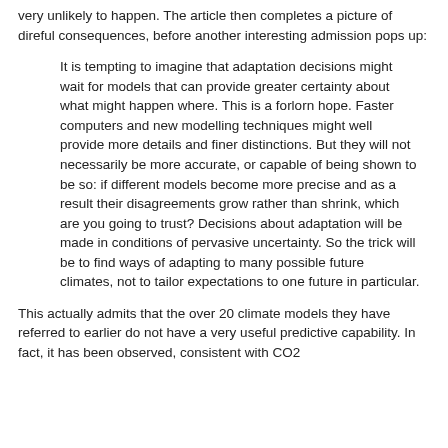very unlikely to happen.  The article then completes a picture of direful consequences, before another interesting admission pops up:
It is tempting to imagine that adaptation decisions might wait for models that can provide greater certainty about what might happen where.  This is a forlorn hope.  Faster computers and new modelling techniques might well provide more details and finer distinctions.  But they will not necessarily be more accurate, or capable of being shown to be so: if different models become more precise and as a result their disagreements grow rather than shrink, which are you going to trust?  Decisions about adaptation will be made in conditions of pervasive uncertainty.  So the trick will be to find ways of adapting to many possible future climates, not to tailor expectations to one future in particular.
This actually admits that the over 20 climate models they have referred to earlier do not have a very useful predictive capability.  In fact, it has been observed, consistent with CO2